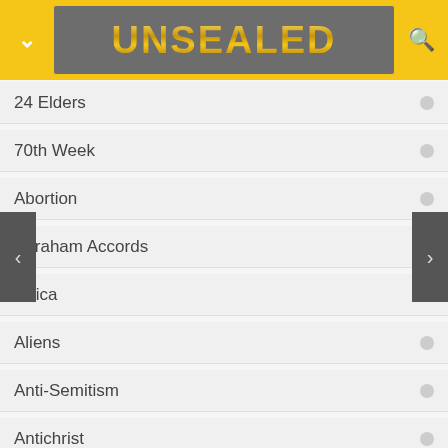UNSEALED
24 Elders
70th Week
Abortion
Abraham Accords
Africa
Aliens
Anti-Semitism
Antichrist
Antichrist Candidates
Apologetics